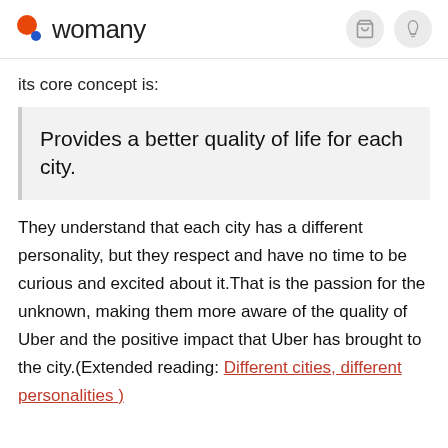womany
its core concept is:
Provides a better quality of life for each city.
They understand that each city has a different personality, but they respect and have no time to be curious and excited about it.That is the passion for the unknown, making them more aware of the quality of Uber and the positive impact that Uber has brought to the city.(Extended reading: Different cities, different personalities )